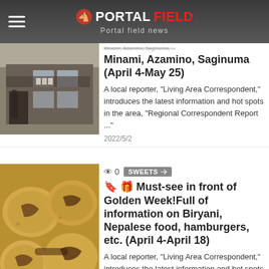PORTALFIELD - Portal field news
Minami, Azamino, Saginuma (April 4-May 25)
A local reporter, "Living Area Correspondent," introduces the latest information and hot spots in the area, "Regional Correspondent Report ..."
2022/5/2
[Figure (photo): Photo of a local storefront building]
0   SWEETS
🔖 🎁 Must-see in front of Golden Week!Full of information on Biryani, Nepalese food, hamburgers, etc. (April 4-April 18)
A local reporter, "Living Area Correspondent," introduces the latest information and hot spots in the area, "Regional Correspondent Report ..."
[Figure (photo): Photo of sweets/cookies with chocolate]